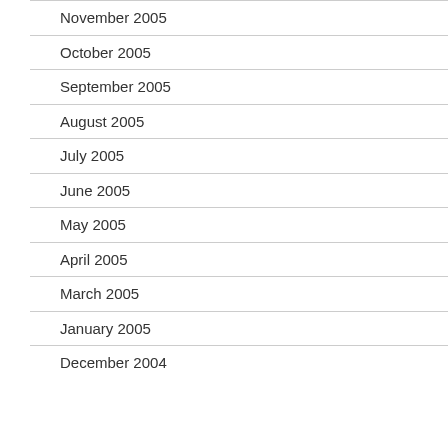November 2005
October 2005
September 2005
August 2005
July 2005
June 2005
May 2005
April 2005
March 2005
January 2005
December 2004